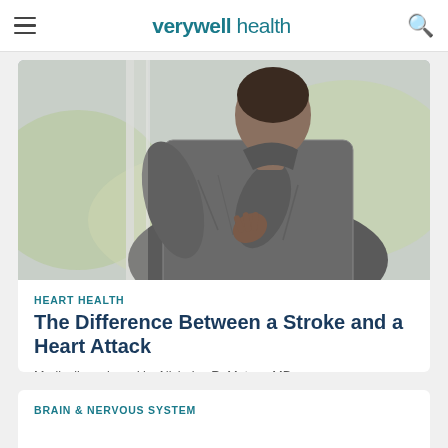verywell health
[Figure (photo): A man in a grey suit clutching his chest/back from behind, appearing to be in pain, with a blurred green background outside a window — suggesting a heart attack or chest pain episode.]
HEART HEALTH
The Difference Between a Stroke and a Heart Attack
Medically reviewed by Nicholas R. Metrus, MD
BRAIN & NERVOUS SYSTEM